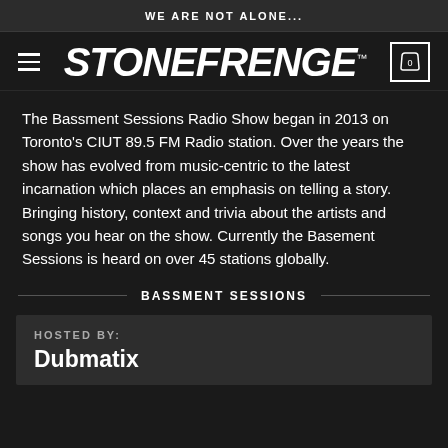WE ARE NOT ALONE...
STONEFRENGE™
The Bassment Sessions Radio Show began in 2013 on Toronto's CIUT 89.5 FM Radio station. Over the years the show has evolved from music-centric to the latest incarnation which places an emphasis on telling a story. Bringing history, context and trivia about the artists and songs you hear on the show. Currently the Basement Sessions is heard on over 45 stations globally.
BASSMENT SESSIONS
HOSTED BY:
Dubmatix